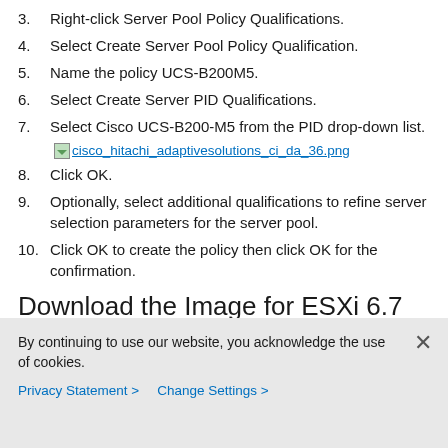3. Right-click Server Pool Policy Qualifications.
4. Select Create Server Pool Policy Qualification.
5. Name the policy UCS-B200M5.
6. Select Create Server PID Qualifications.
7. Select Cisco UCS-B200-M5 from the PID drop-down list.
[Figure (screenshot): Image link: cisco_hitachi_adaptivesolutions_ci_da_36.png]
8. Click OK.
9. Optionally, select additional qualifications to refine server selection parameters for the server pool.
10. Click OK to create the policy then click OK for the confirmation.
Download the Image for ESXi 6.7 U1
The VMware Cisco Custom Image will need to be downloaded for use during installation by manual
By continuing to use our website, you acknowledge the use of cookies.
Privacy Statement > Change Settings >